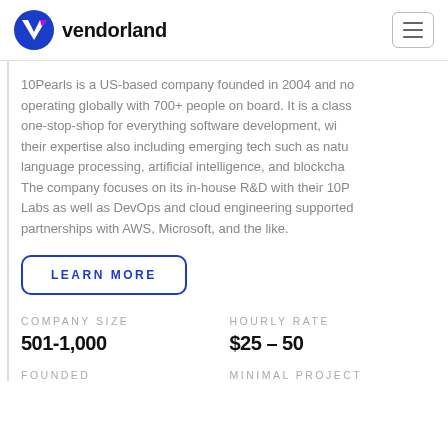vendorland
10Pearls is a US-based company founded in 2004 and now operating globally with 700+ people on board. It is a classic one-stop-shop for everything software development, with their expertise also including emerging tech such as natural language processing, artificial intelligence, and blockchain. The company focuses on its in-house R&D with their 10Pearls Labs as well as DevOps and cloud engineering supported by partnerships with AWS, Microsoft, and the like.
LEARN MORE
COMPANY SIZE
501-1,000
FOUNDED
HOURLY RATE
$25 - 50
MINIMAL PROJECT